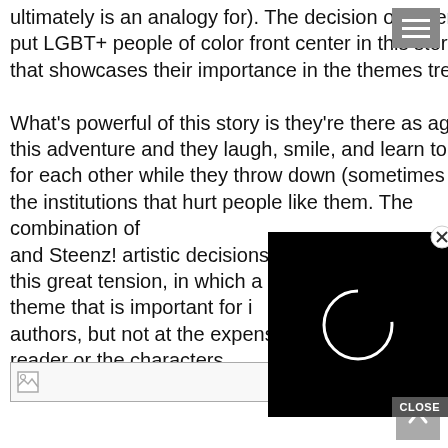ultimately is an analogy for). The decision of Steenz! to put LGBT+ people of color front center in this story is one that showcases their importance in the themes treated.
What's powerful of this story is they're there as agents of this adventure and they laugh, smile, and learn to care for each other while they throw down (sometimes literally) the institutions that hurt people like them. The combination of and Steenz! artistic decisions this great tension, in which a theme that is important for i authors, but not at the expense of retraumatizing the reader or the characters.
[Figure (screenshot): A black video overlay box with a white circular loading spinner, with a grey CLOSE button at the bottom right, and an X close button at the top right corner of the overlay.]
[Figure (other): A broken image placeholder icon at the bottom of the page.]